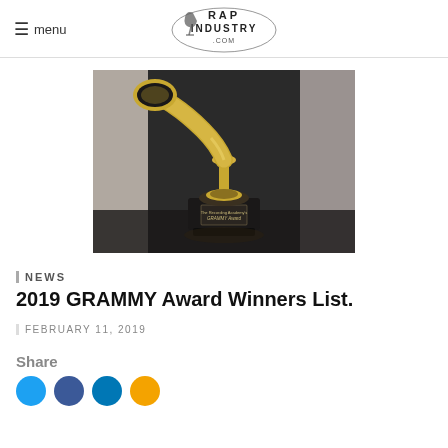≡ menu | RAP INDUSTRY .COM
[Figure (photo): A gold Grammy Award trophy on a dark background with a placard reading 'The Recording Academy's GRAMMY Award']
NEWS
2019 GRAMMY Award Winners List.
FEBRUARY 11, 2019
Share